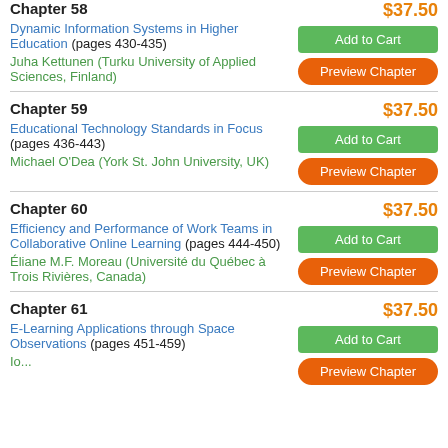Chapter 58
$37.50
Dynamic Information Systems in Higher Education (pages 430-435)
Juha Kettunen (Turku University of Applied Sciences, Finland)
Chapter 59
$37.50
Educational Technology Standards in Focus (pages 436-443)
Michael O'Dea (York St. John University, UK)
Chapter 60
$37.50
Efficiency and Performance of Work Teams in Collaborative Online Learning (pages 444-450)
Éliane M.F. Moreau (Université du Québec à Trois Rivières, Canada)
Chapter 61
$37.50
E-Learning Applications through Space Observations (pages 451-459)